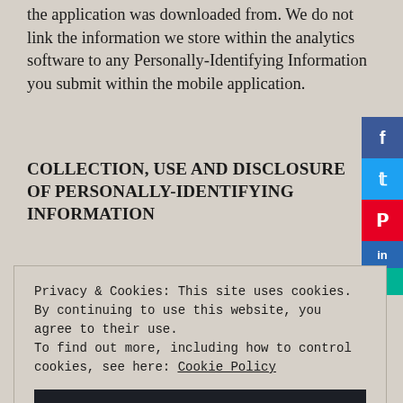the application was downloaded from. We do not link the information we store within the analytics software to any Personally-Identifying Information you submit within the mobile application.
COLLECTION, USE AND DISCLOSURE OF PERSONALLY-IDENTIFYING INFORMATION
Privacy & Cookies: This site uses cookies. By continuing to use this website, you agree to their use.
To find out more, including how to control cookies, see here: Cookie Policy
Close and accept